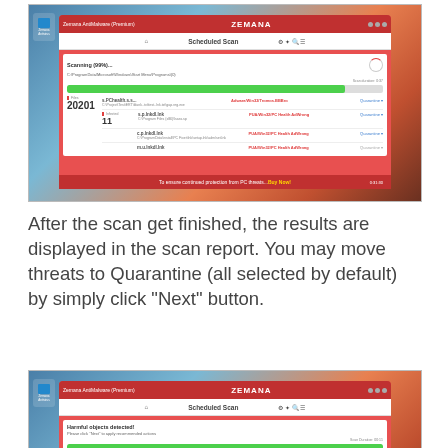[Figure (screenshot): Zemana AntiMalware Premium application window showing a scan in progress at 99%, with a green progress bar and a list of detected threats including files named p.lnkdl.lnk with threat names like Adware/Win32/Tromos.BBBro and PUA/Win32/PC Health AdWrong. Stats show Files: 20201, Infected: 11.]
After the scan get finished, the results are displayed in the scan report. You may move threats to Quarantine (all selected by default) by simply click “Next” button.
[Figure (screenshot): Zemana AntiMalware Premium application window showing harmful objects detected screen with scan complete. Shows Files: 20201, Threats: 12. Lists threat files with names like p.lnkdl.lnk and threat classifications PUA/Win32/PC Health AdwWong. Blue quarantine links visible on right.]